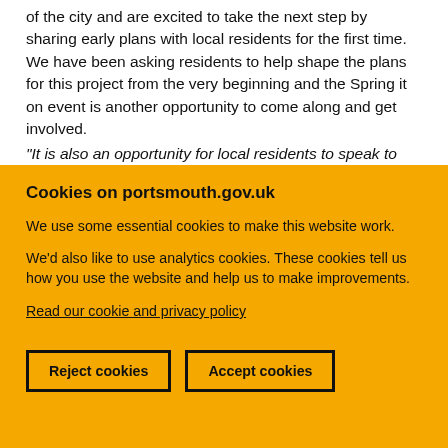of the city and are excited to take the next step by sharing early plans with local residents for the first time. We have been asking residents to help shape the plans for this project from the very beginning and the Spring it on event is another opportunity to come along and get involved.
"It is also an opportunity for local residents to speak to
Cookies on portsmouth.gov.uk
We use some essential cookies to make this website work.
We'd also like to use analytics cookies. These cookies tell us how you use the website and help us to make improvements.
Read our cookie and privacy policy
Reject cookies
Accept cookies